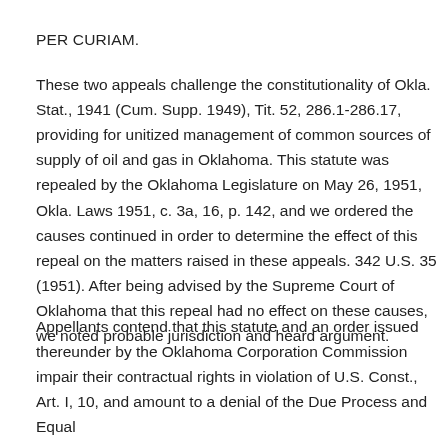PER CURIAM.
These two appeals challenge the constitutionality of Okla. Stat., 1941 (Cum. Supp. 1949), Tit. 52, 286.1-286.17, providing for unitized management of common sources of supply of oil and gas in Oklahoma. This statute was repealed by the Oklahoma Legislature on May 26, 1951, Okla. Laws 1951, c. 3a, 16, p. 142, and we ordered the causes continued in order to determine the effect of this repeal on the matters raised in these appeals. 342 U.S. 35 (1951). After being advised by the Supreme Court of Oklahoma that this repeal had no effect on these causes, we noted probable jurisdiction and heard argument.
Appellants contend that this statute and an order issued thereunder by the Oklahoma Corporation Commission impair their contractual rights in violation of U.S. Const., Art. I, 10, and amount to a denial of the Due Process and Equal